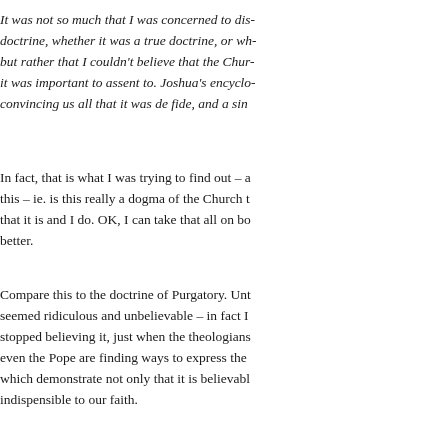It was not so much that I was concerned to dis- doctrine, whether it was a true doctrine, or wh- but rather that I couldn't believe that the Chur- it was important to assent to. Joshua's encyclo- convincing us all that it was de fide, and a sin
In fact, that is what I was trying to find out – a this – ie. is this really a dogma of the Church t that it is and I do. OK, I can take that all on bo better.
Compare this to the doctrine of Purgatory. Unt seemed ridiculous and unbelievable – in fact I stopped believing it, just when the theologians even the Pope are finding ways to express the which demonstrate not only that it is believabl indispensible to our faith.